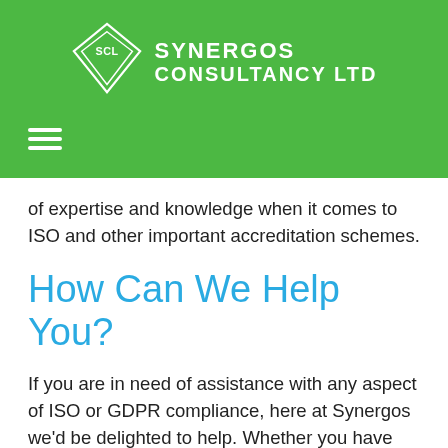[Figure (logo): Synergos Consultancy Ltd logo with diamond/rhombus shape containing 'SCL' and company name in white on green background]
of expertise and knowledge when it comes to ISO and other important accreditation schemes.
How Can We Help You?
If you are in need of assistance with any aspect of ISO or GDPR compliance, here at Synergos we'd be delighted to help. Whether you have questions about the path to compliance or are